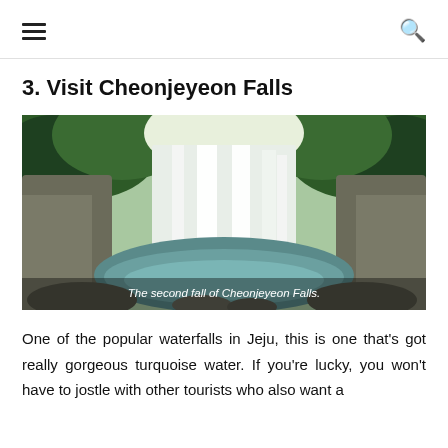Navigation menu and search icons
3. Visit Cheonjeyeon Falls
[Figure (photo): A waterfall scene at Cheonjeyeon Falls, Jeju, with lush green trees surrounding a cascading waterfall that flows into a turquoise pool below. The image has an overlay caption reading 'The second fall of Cheonjeyeon Falls.']
The second fall of Cheonjeyeon Falls.
One of the popular waterfalls in Jeju, this is one that's got really gorgeous turquoise water. If you're lucky, you won't have to jostle with other tourists who also want a